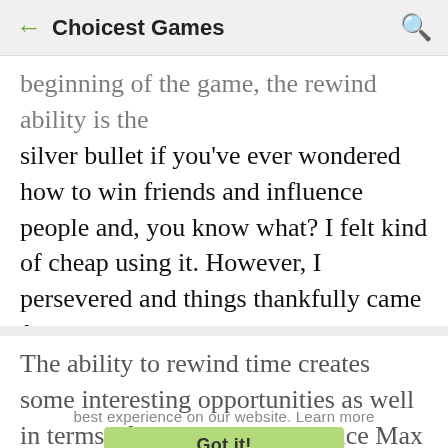← Choicest Games 🔍
...beginning of the game, the rewind ability is the silver bullet if you've ever wondered how to win friends and influence people and, you know what? I felt kind of cheap using it. However, I persevered and things thankfully came full circle with respect to learning not to abuse the power, so all is forgiven DONTNOD. You did good!
The ability to rewind time creates some interesting opportunities as well in terms of problem solving since Max stays in the same spot and holds on to the same inventory items while rewinding back in time: think about that for a